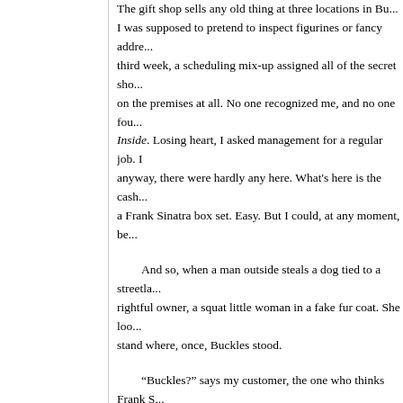The gift shop sells any old thing at three locations in Bu... I was supposed to pretend to inspect figurines or fancy addre... third week, a scheduling mix-up assigned all of the secret sho... on the premises at all. No one recognized me, and no one fo... Inside. Losing heart, I asked management for a regular job. I anyway, there were hardly any here. What's here is the cash... a Frank Sinatra box set. Easy. But I could, at any moment, be...
And so, when a man outside steals a dog tied to a streetla... rightful owner, a squat little woman in a fake fur coat. She loo... stand where, once, Buckles stood.
“Buckles?” says my customer, the one who thinks Frank S... informed me, is made out of a rabbit. “Buckles? Well that’s he...
Sinatra is happy with his microphone. Who wouldn’t be. I...
“You should always have your pet’s name end in a vowel... should name them Booboo or Fanny or Teeny.”
“Oh,” I say. A line has formed.
“What’s your name?”